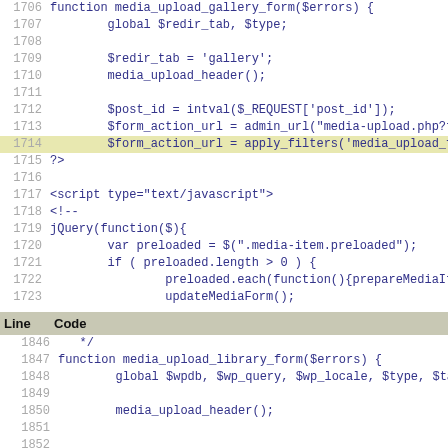Code listing lines 1706-1723 and 1846-1851
| Line | Code |
| --- | --- |
| 1846 | */ |
| 1847 | function media_upload_library_form($errors) { |
| 1848 |         global $wpdb, $wp_query, $wp_locale, $type, $tab |
| 1849 |  |
| 1850 |         media_upload_header(); |
| 1851 |  |